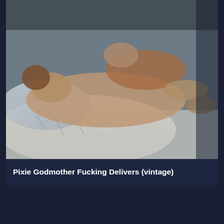[Figure (screenshot): Video thumbnail showing two people on a bed in an intimate scene, vintage style]
18:44
Pixie Godmother Fucking Delivers (vintage)
[Figure (screenshot): Dark navy background area for second video card, mostly empty/loading]
28:25